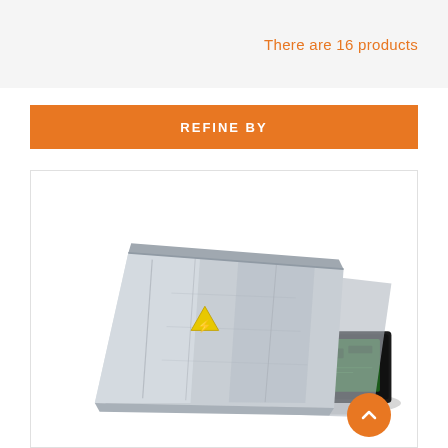There are 16 products
REFINE BY
[Figure (photo): Anti-static shielding bag containing a hard drive circuit board, silver metallic finish, shown partially open with green PCB visible on the right side.]